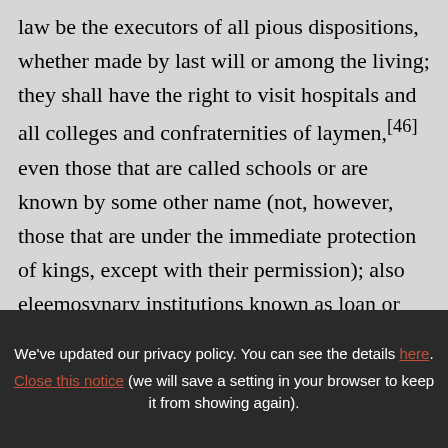law be the executors of all pious dispositions, whether made by last will or among the living; they shall have the right to visit hospitals and all colleges and confraternities of laymen,[46] even those that are called schools or are known by some other name (not, however, those that are under the immediate protection of kings, except with their permission); also eleemosynary institutions known as loan or charity foundations, and all pious places by
We've updated our privacy policy. You can see the details here. Close this notice (we will save a setting in your browser to keep it from showing again).